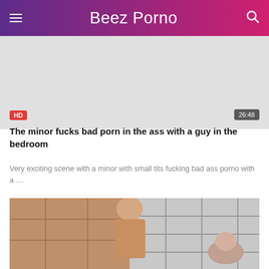Beez Porno
[Figure (photo): Video thumbnail placeholder area (light gray background)]
HD
26:48
The minor fucks bad porn in the ass with a guy in the bedroom
Very exciting scene with a minor with small tits fucking bad ass porno with a …
[Figure (photo): Second video thumbnail showing two people in a room with grid-patterned windows]